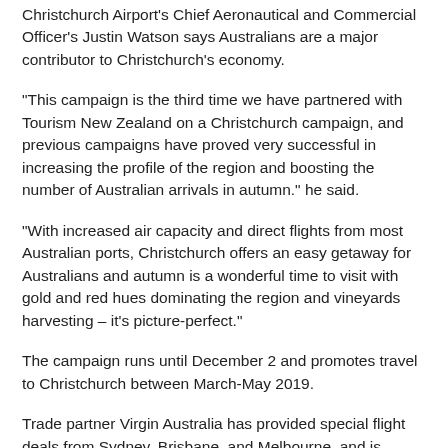Christchurch Airport's Chief Aeronautical and Commercial Officer's Justin Watson says Australians are a major contributor to Christchurch's economy.
“This campaign is the third time we have partnered with Tourism New Zealand on a Christchurch campaign, and previous campaigns have proved very successful in increasing the profile of the region and boosting the number of Australian arrivals in autumn.” he said.
"With increased air capacity and direct flights from most Australian ports, Christchurch offers an easy getaway for Australians and autumn is a wonderful time to visit with gold and red hues dominating the region and vineyards harvesting – it’s picture-perfect."
The campaign runs until December 2 and promotes travel to Christchurch between March-May 2019.
Trade partner Virgin Australia has provided special flight deals from Sydney, Brisbane, and Melbourne, and is supporting advertising for the length of the campaign.